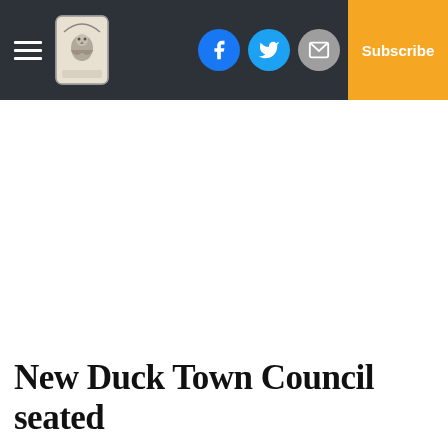New Duck Town Council seated
New Duck Town Council seated